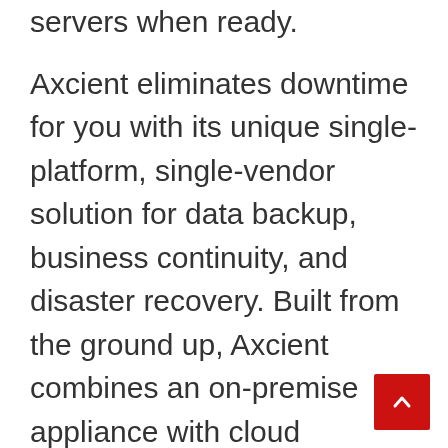servers when ready.
Axcient eliminates downtime for you with its unique single-platform, single-vendor solution for data backup, business continuity, and disaster recovery. Built from the ground up, Axcient combines an on-premise appliance with cloud services for fast backup and restoration. In an emergency, businesses can quickly failover their systems to the Axcient cloud for continued use of their data and applications. With zero infrastructure, license, or software costs, the Axcient pa… as-you-grow service delivers enterprise-level